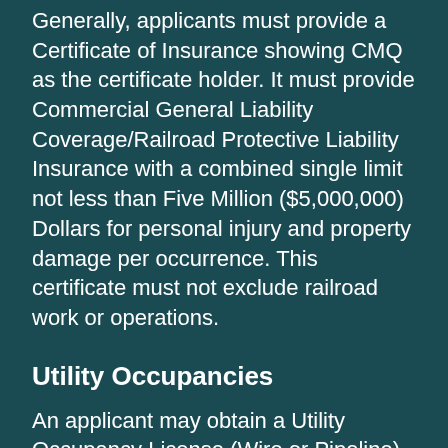Generally, applicants must provide a Certificate of Insurance showing CMQ as the certificate holder. It must provide Commercial General Liability Coverage/Railroad Protective Liability Insurance with a combined single limit not less than Five Million ($5,000,000) Dollars for personal injury and property damage per occurrence. This certificate must not exclude railroad work or operations.
Utility Occupancies
An applicant may obtain a Utility Occupancy License (Wire or Pipeline) through a formal application process.
Grade Crossings